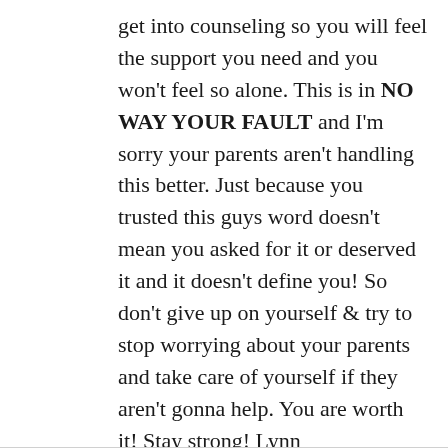get into counseling so you will feel the support you need and you won't feel so alone. This is in NO WAY YOUR FAULT and I'm sorry your parents aren't handling this better. Just because you trusted this guys word doesn't mean you asked for it or deserved it and it doesn't define you! So don't give up on yourself & try to stop worrying about your parents and take care of yourself if they aren't gonna help. You are worth it! Stay strong! Lynn
★ Like
Reply